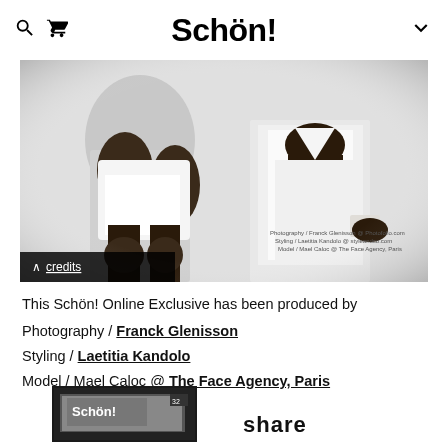Schön!
[Figure (photo): Black and white fashion editorial photo showing two models wearing white clothing, cropped to show torsos and legs. A 'credits' button overlay appears at bottom left of image.]
This Schön! Online Exclusive has been produced by
Photography / Franck Glenisson
Styling / Laetitia Kandolo
Model / Mael Caloc @ The Face Agency, Paris
[Figure (photo): Partial bottom image showing Schön! magazine cover or promotional image, partially cropped]
share